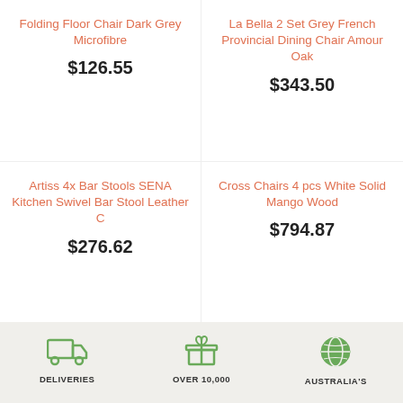Folding Floor Chair Dark Grey Microfibre
$126.55
La Bella 2 Set Grey French Provincial Dining Chair Amour Oak
$343.50
Artiss 4x Bar Stools SENA Kitchen Swivel Bar Stool Leather C
$276.62
Cross Chairs 4 pcs White Solid Mango Wood
$794.87
DELIVERIES   OVER 10,000   AUSTRALIA'S